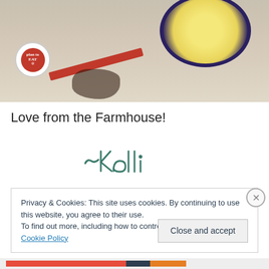[Figure (photo): Food photo showing a dish with yellow/corn contents in a dark round pan, a red utensil/spatula, a circular badge logo, and a dark spill on a light surface]
Love from the Farmhouse!
[Figure (illustration): Handwritten cursive signature reading ~Kelli in teal/dark green color]
Privacy & Cookies: This site uses cookies. By continuing to use this website, you agree to their use.
To find out more, including how to control cookies, see here: Cookie Policy
Close and accept